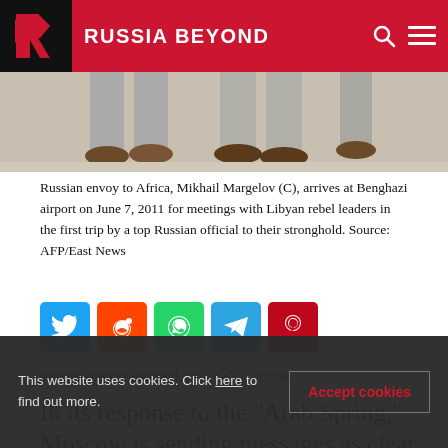RUSSIA BEYOND
[Figure (photo): Cropped photo showing legs and feet of people walking, likely at Benghazi airport. Gray trousers and brown dress shoes visible.]
Russian envoy to Africa, Mikhail Margelov (C), arrives at Benghazi airport on June 7, 2011 for meetings with Libyan rebel leaders in the first trip by a top Russian official to their stronghold. Source: AFP/East News
[Figure (infographic): Social media share buttons: Twitter (blue), Reddit (orange), WhatsApp (green), Telegram (light blue), Pinterest (red)]
Follow Russia Beyond on  Rumble
In its response to the "Arab Spring," Moscow is sending messages as clear as any other global player.
This website uses cookies. Click here to find out more.